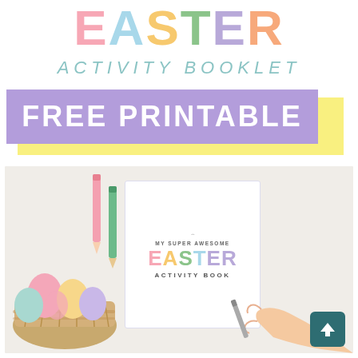EASTER ACTIVITY BOOKLET
FREE PRINTABLE
[Figure (photo): Child coloring an Easter Activity Book on a white table, with a basket of colorful Easter eggs and colored pencils in the background. A hand holds a pencil while writing/coloring on the book cover which reads 'MY SUPER AWESOME EASTER ACTIVITY BOOK'.]